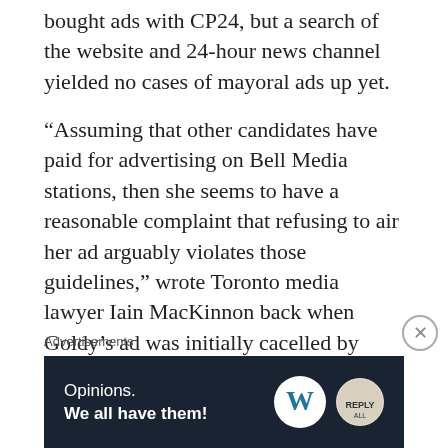bought ads with CP24, but a search of the website and 24-hour news channel yielded no cases of mayoral ads up yet.
“Assuming that other candidates have paid for advertising on Bell Media stations, then she seems to have a reasonable complaint that refusing to air her ad arguably violates those guidelines,” wrote Toronto media lawyer Iain MacKinnon back when Goldy’s ad was initially cacelled by Bell. “The problem is that they are only guidelines and don’t have the force of a statute or regulation. Broadcasters don’t have to strictly comply with the wording of those guidelines because they are simply guidelines. Although the Television
Advertisements
[Figure (infographic): WordPress advertisement banner reading 'Opinions. We all have them!' with WordPress logo and another circular logo on dark navy background.]